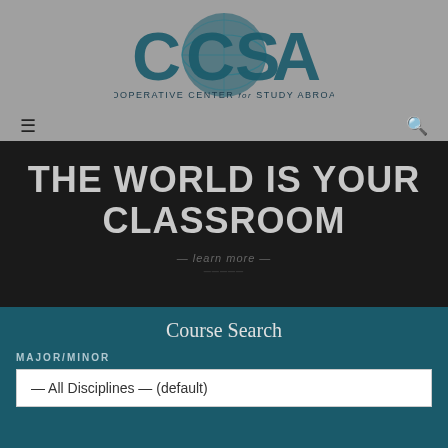[Figure (logo): CCSA - Cooperative Center for Study Abroad logo with globe graphic]
THE WORLD IS YOUR CLASSROOM
Course Search
MAJOR/MINOR
— All Disciplines — (default)